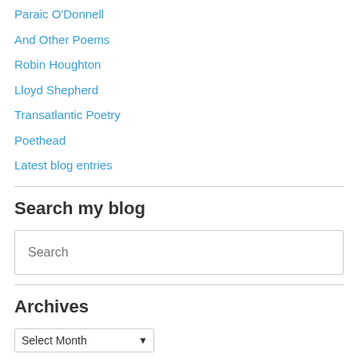Paraic O'Donnell
And Other Poems
Robin Houghton
Lloyd Shepherd
Transatlantic Poetry
Poethead
Latest blog entries
Search my blog
Search
Archives
Select Month